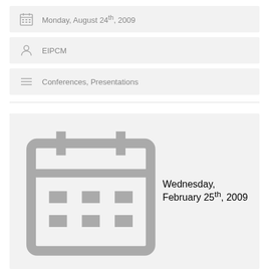Monday, August 24th, 2009
EIPCM
Conferences, Presentations
Wirtschaftsinformatik 2009
Our founding director Dr. Jasminko Novak gives a presentation of his work with University of Zurich at the international information systems conference Wirtschaftsinformatik 2009 in Vienna, February 25-27, 2009.
Wednesday, February 25th, 2009